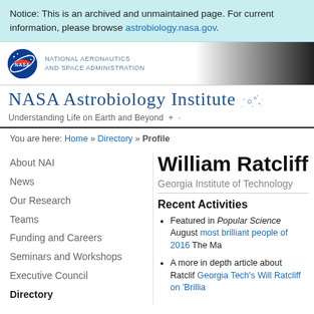Notice: This is an archived and unmaintained page. For current information, please browse astrobiology.nasa.gov.
[Figure (logo): NASA logo (meatball) and National Aeronautics and Space Administration text header with dark gradient]
NASA Astrobiology Institute
Understanding Life on Earth and Beyond
You are here: Home » Directory » Profile
About NAI
News
Our Research
Teams
Funding and Careers
Seminars and Workshops
Executive Council
Directory
William Ratcliff
Georgia Institute of Technology
Recent Activities
Featured in Popular Science August most brilliant people of 2016 The Ma
A more in depth article about Ratcliff Georgia Tech's Will Ratcliff on 'Brillia